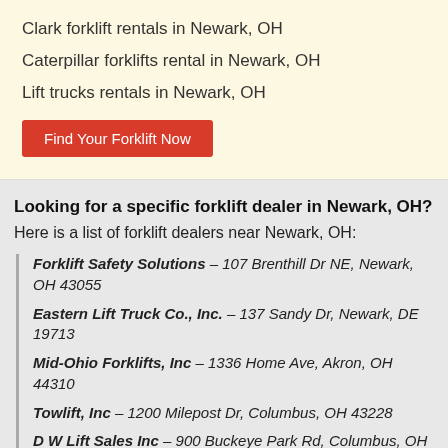Clark forklift rentals in Newark, OH
Caterpillar forklifts rental in Newark, OH
Lift trucks rentals in Newark, OH
Find Your Forklift Now
Looking for a specific forklift dealer in Newark, OH?
Here is a list of forklift dealers near Newark, OH:
Forklift Safety Solutions – 107 Brenthill Dr NE, Newark, OH 43055
Eastern Lift Truck Co., Inc. – 137 Sandy Dr, Newark, DE 19713
Mid-Ohio Forklifts, Inc – 1336 Home Ave, Akron, OH 44310
Towlift, Inc – 1200 Milepost Dr, Columbus, OH 43228
D W Lift Sales Inc – 900 Buckeye Park Rd, Columbus, OH 43207